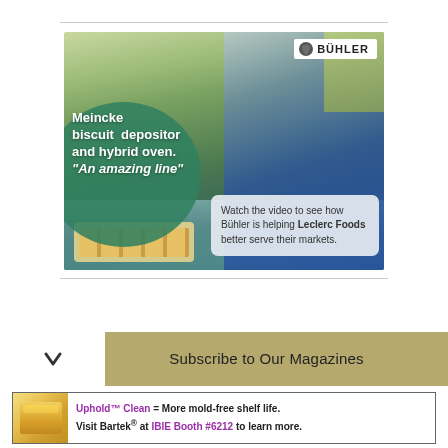[Figure (photo): Bühler advertisement showing a food factory worker in blue uniform and mask inspecting biscuits on a conveyor belt. Text overlays: 'Meincke biscuit depositor and hybrid oven. "An amazing line"' and 'Watch the video to see how Bühler is helping Leclerc Foods better serve their markets.' Bühler logo in top right.]
Subscribe to Our Magazines
[Figure (photo): Bottom advertisement: bread/biscuit image on left, text: 'Uphold™ Clean = More mold-free shelf life. Visit Bartek® at IBIE Booth #6212 to learn more.']